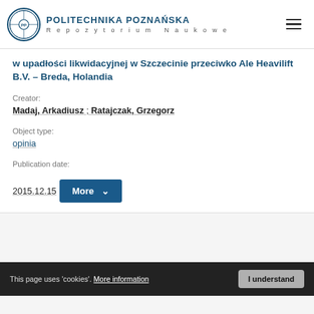[Figure (logo): Politechnika Poznańska Repozytorium Naukowe logo with circular university seal and text]
w upadłości likwidacyjnej w Szczecinie przeciwko Ale Heavilift B.V. – Breda, Holandia
Creator:
Madaj, Arkadiusz ; Ratajczak, Grzegorz
Object type:
opinia
Publication date:
2015.12.15
More
This page uses 'cookies'. More information
I understand